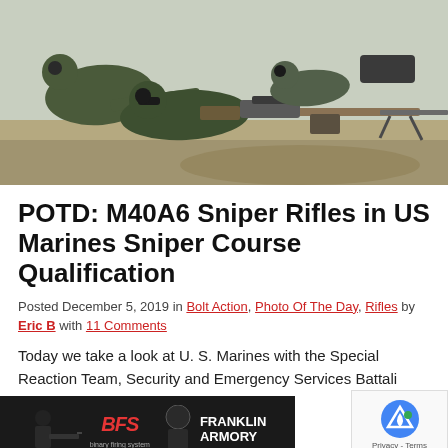[Figure (photo): Military snipers in green fatigues lying prone on a firing range, aiming M40A6 sniper rifles with scopes and bipods.]
POTD: M40A6 Sniper Rifles in US Marines Sniper Course Qualification
Posted December 5, 2019 in Bolt Action, Photo Of The Day, Rifles by Eric B with 11 Comments
Today we take a look at U. S. Marines with the Special Reaction Team, Security and Emergency Services Battalion, Provost Marshal's Office, Marine Corps Base Camp as the photos